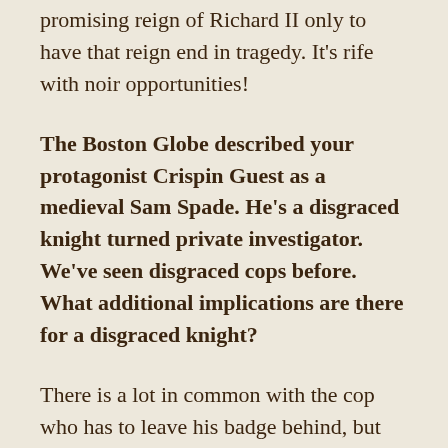promising reign of Richard II only to have that reign end in tragedy. It's rife with noir opportunities!
The Boston Globe described your protagonist Crispin Guest as a medieval Sam Spade. He's a disgraced knight turned private investigator. We've seen disgraced cops before. What additional implications are there for a disgraced knight?
There is a lot in common with the cop who has to leave his badge behind, but also some differences. Crispin not only lost his knighthood, his lands, and his wealth, but taken all together, these were the very things